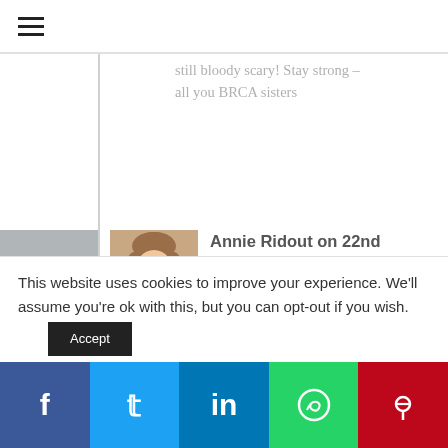≡
still bloody scary! Stay strong – all you BRCA sisters
13
Annie Ridout on 22nd September 2016 at 3:03 pm
Reply
Sending you wellness wishes Alison, hope it all goes ok and that you have a swift recovery x
This website uses cookies to improve your experience. We'll assume you're ok with this, but you can opt-out if you wish.
f  t  in  WhatsApp  p